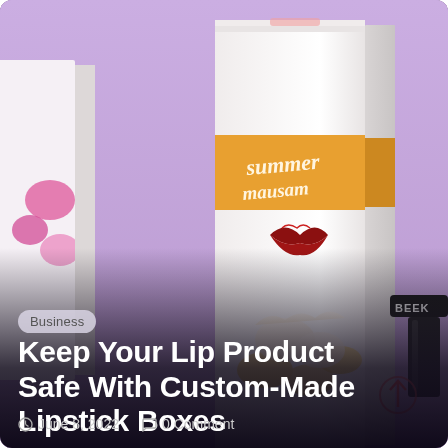[Figure (photo): Product photo showing custom lipstick boxes with 'summer mausam' branding on a purple/lilac background, with cosmetic lipstick items visible on the sides]
Business
Keep Your Lip Product Safe With Custom-Made Lipstick Boxes
June 8, 2022   0 Comment